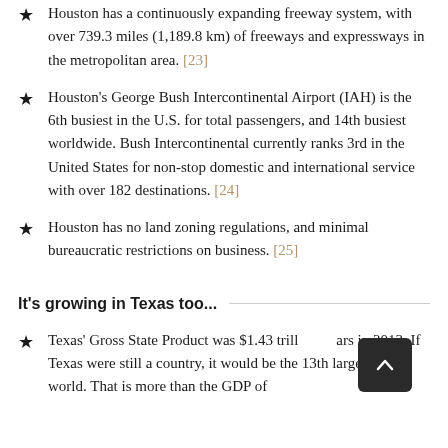Houston has a continuously expanding freeway system, with over 739.3 miles (1,189.8 km) of freeways and expressways in the metropolitan area. [23]
Houston's George Bush Intercontinental Airport (IAH) is the 6th busiest in the U.S. for total passengers, and 14th busiest worldwide. Bush Intercontinental currently ranks 3rd in the United States for non-stop domestic and international service with over 182 destinations. [24]
Houston has no land zoning regulations, and minimal bureaucratic restrictions on business. [25]
It's growing in Texas too...
Texas' Gross State Product was $1.43 trillion dollars in 2013. If Texas were still a country, it would be the 13th largest in the world. That is more than the GDP of South Korea or Mexico. [26]